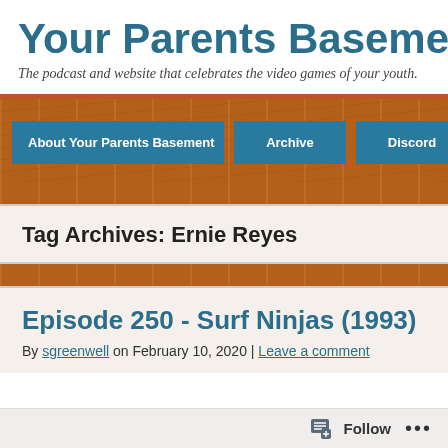Your Parents Basement
The podcast and website that celebrates the video games of your youth.
About Your Parents Basement
Archive
Discord
Tag Archives: Ernie Reyes
Episode 250 - Surf Ninjas (1993)
By sgreenwell on February 10, 2020 | Leave a comment